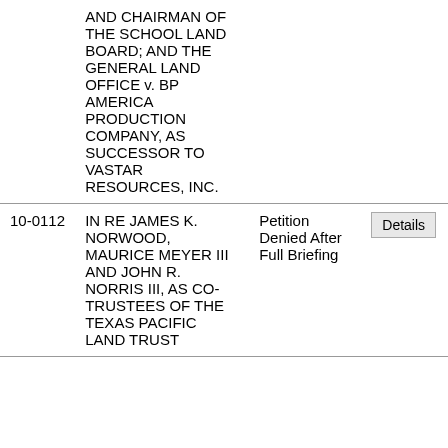| Case No. | Case Name | Status |  |
| --- | --- | --- | --- |
|  | AND CHAIRMAN OF THE SCHOOL LAND BOARD; AND THE GENERAL LAND OFFICE v. BP AMERICA PRODUCTION COMPANY, AS SUCCESSOR TO VASTAR RESOURCES, INC. |  |  |
| 10-0112 | IN RE JAMES K. NORWOOD, MAURICE MEYER III AND JOHN R. NORRIS III, AS CO-TRUSTEES OF THE TEXAS PACIFIC LAND TRUST | Petition Denied After Full Briefing | Details |